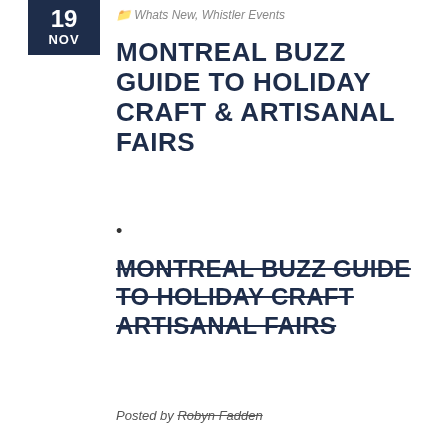Whats New, Whistler Events
MONTREAL BUZZ GUIDE TO HOLIDAY CRAFT & ARTISANAL FAIRS
•
MONTREAL BUZZ GUIDE TO HOLIDAY CRAFT ARTISANAL FAIRS (strikethrough)
Posted by Robyn Fadden